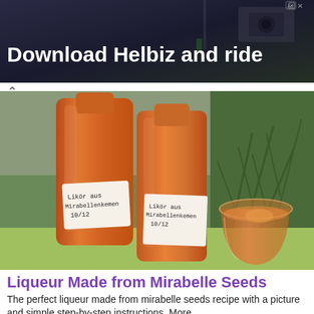[Figure (photo): Advertisement banner with dark background showing 'Download Helbiz and ride' text in white bold font, with a street scene background and a camera visible. An ad close/skip icon appears in the top right corner.]
[Figure (photo): Two large bottles filled with amber/orange-colored mirabelle seed liqueur, with handwritten white labels reading 'Likör aus Mirabellenkemen 10/12', and a glass of the same liqueur on the right, set against a background with a green plant. A small chevron/arrow pointing up appears in the top left of this section.]
Liqueur Made from Mirabelle Seeds
The perfect liqueur made from mirabelle seeds recipe with a picture and simple step-by-step instructions. More…